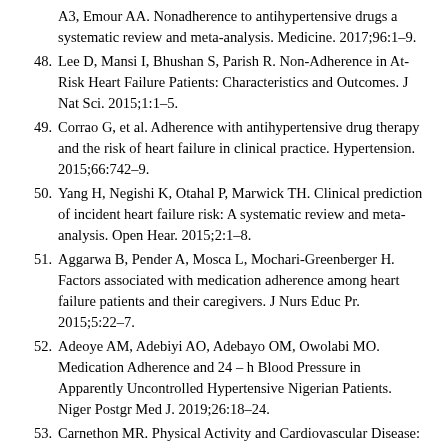(partial) A3, Emour AA. Nonadherence to antihypertensive drugs a systematic review and meta-analysis. Medicine. 2017;96:1–9.
48. Lee D, Mansi I, Bhushan S, Parish R. Non-Adherence in At-Risk Heart Failure Patients: Characteristics and Outcomes. J Nat Sci. 2015;1:1–5.
49. Corrao G, et al. Adherence with antihypertensive drug therapy and the risk of heart failure in clinical practice. Hypertension. 2015;66:742–9.
50. Yang H, Negishi K, Otahal P, Marwick TH. Clinical prediction of incident heart failure risk: A systematic review and meta-analysis. Open Hear. 2015;2:1–8.
51. Aggarwa B, Pender A, Mosca L, Mochari-Greenberger H. Factors associated with medication adherence among heart failure patients and their caregivers. J Nurs Educ Pr. 2015;5:22–7.
52. Adeoye AM, Adebiyi AO, Adebayo OM, Owolabi MO. Medication Adherence and 24 – h Blood Pressure in Apparently Uncontrolled Hypertensive Nigerian Patients. Niger Postgr Med J. 2019;26:18–24.
53. Carnethon MR. Physical Activity and Cardiovascular Disease: How Much Is Enough? Am J Lifestyle Med. 2009;3:44S–49S.
54. Wahid A, et al. Quantifying the Association Between Physical Activity and Cardiovascular Disease and Diabetes: A Systematic Review and Meta-Analysis. J Am Heart Asso...